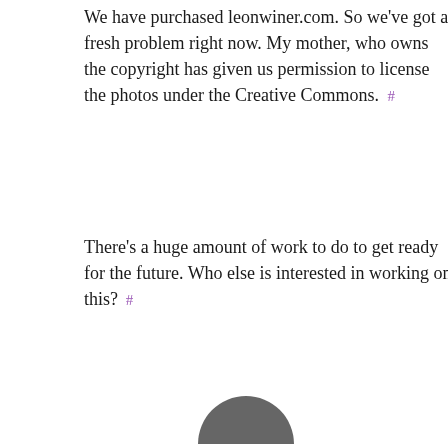We have purchased leonwiner.com. So we've got a fresh problem right now. My mother, who owns the copyright has given us permission to license the photos under the Creative Commons. #
There's a huge amount of work to do to get ready for the future. Who else is interested in working on this? #
[Figure (illustration): Partial gray circular avatar/profile image at bottom of page]